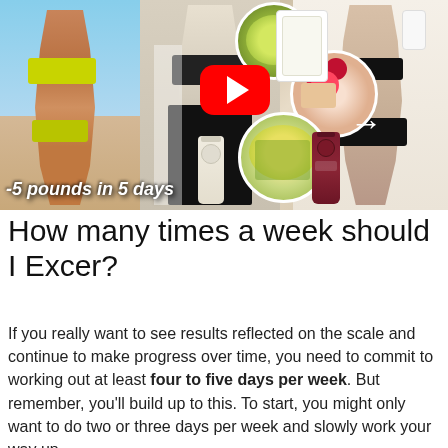[Figure (photo): YouTube video thumbnail collage showing women in fitness attire, food bowls, health drinks/juices, with text overlay '-5 pounds in 5 days' and a red YouTube play button]
How many times a week should I Excer?
If you really want to see results reflected on the scale and continue to make progress over time, you need to commit to working out at least four to five days per week. But remember, you'll build up to this. To start, you might only want to do two or three days per week and slowly work your way up